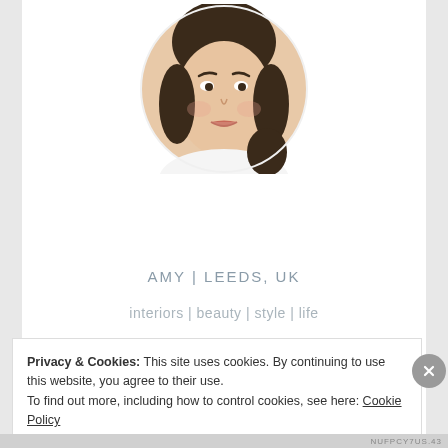[Figure (photo): Circular profile photo of a woman with dark curly hair, wearing a white top, smiling slightly]
AMY | LEEDS, UK
interiors | beauty | style | life
[Figure (illustration): Row of five circular social media icons: Instagram, Twitter, Facebook, Pinterest, Bloglovin]
SUBSCRIBE BY EMAIL
[Figure (illustration): Single circular email/envelope icon for subscribing by email]
Privacy & Cookies: This site uses cookies. By continuing to use this website, you agree to their use.
To find out more, including how to control cookies, see here: Cookie Policy
Close and accept